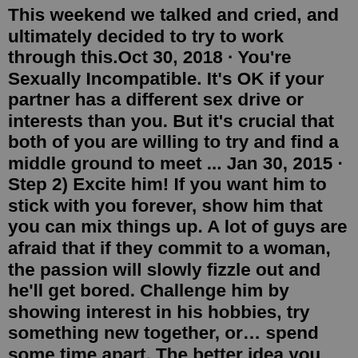This weekend we talked and cried, and ultimately decided to try to work through this.Oct 30, 2018 · You're Sexually Incompatible. It's OK if your partner has a different sex drive or interests than you. But it's crucial that both of you are willing to try and find a middle ground to meet ... Jan 30, 2015 · Step 2) Excite him! If you want him to stick with you forever, show him that you can mix things up. A lot of guys are afraid that if they commit to a woman, the passion will slowly fizzle out and he'll get bored. Challenge him by showing interest in his hobbies, try something new together, or… spend some time apart. The better idea you have of what you're feeling and what you want, the easier the decision will be. The hardest decisions become the easiest decisions if you let time clarify things. When you're thinking about breaking up with someone you love, it's imperative to avoid being hasty. Take your time, think things through, and allow yourself ... Jul 27, 2016 · If they can't take 20 seconds to text you and tell you they won't be able to contact you that evening or cancel a date, they